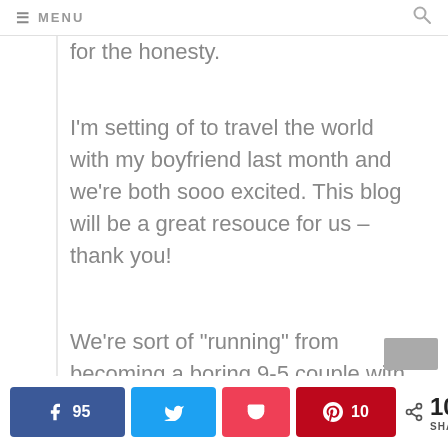≡ MENU
for the honesty.
I'm setting of to travel the world with my boyfriend last month and we're both sooo excited. This blog will be a great resouce for us – thank you!
We're sort of "running" from becoming a boring 9-5 couple with a hose, car and all that. That life really seems depressing to us, even though not many of our friends and family
95  |  Twitter share  |  Pocket  |  10  |  105 SHARES